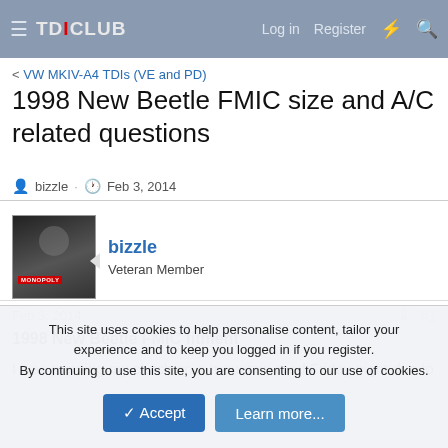TDICLUB — Log in  Register
< VW MKIV-A4 TDIs (VE and PD)
1998 New Beetle FMIC size and A/C related questions
bizzle · Feb 3, 2014
bizzle
Veteran Member
Feb 3, 2014  #1
1998 New Beetle FMIC fitment
I was popping my clutch on a mountain road Friday night due to
This site uses cookies to help personalise content, tailor your experience and to keep you logged in if you register.
By continuing to use this site, you are consenting to our use of cookies.
✓ Accept    Learn more...